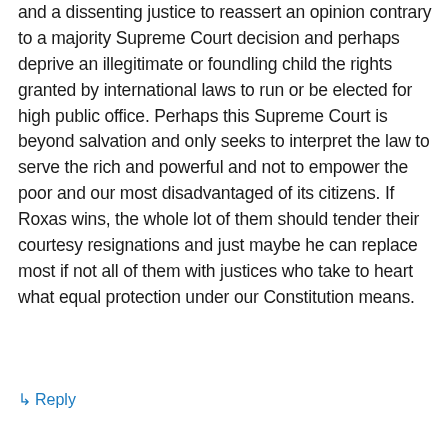and a dissenting justice to reassert an opinion contrary to a majority Supreme Court decision and perhaps deprive an illegitimate or foundling child the rights granted by international laws to run or be elected for high public office. Perhaps this Supreme Court is beyond salvation and only seeks to interpret the law to serve the rich and powerful and not to empower the poor and our most disadvantaged of its citizens. If Roxas wins, the whole lot of them should tender their courtesy resignations and just maybe he can replace most if not all of them with justices who take to heart what equal protection under our Constitution means.
↳ Reply